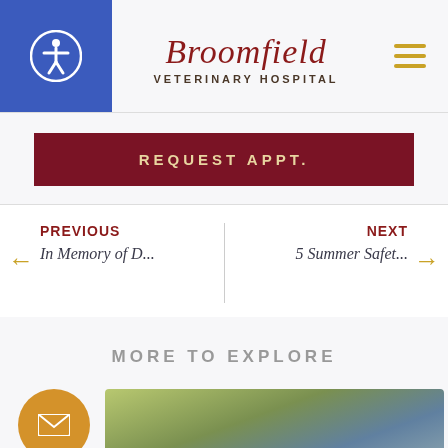[Figure (logo): Broomfield Veterinary Hospital logo with script text and accessibility icon and hamburger menu]
REQUEST APPT.
PREVIOUS
In Memory of D...
NEXT
5 Summer Safet...
MORE TO EXPLORE
[Figure (photo): Blurred outdoor photo with a dog and crowd in background, partially visible at bottom of page]
Pet Health